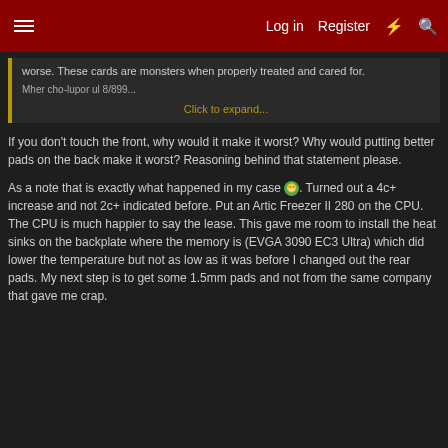Log in  Register
worse. These cards are monsters when properly treated and cared for.

Click to expand...
If you don't touch the front, why would it make it worst? Why would putting better pads on the back make it worst? Reasoning behind that statement please.

As a note that is exactly what happened in my case. Turned out a 4c+ increase and not 2c+ indicated before. Put an Artic Freezer II 280 on the CPU. The CPU is much happier to say the lease. This gave me room to install the heat sinks on the backplate where the memory is (EVGA 3090 EC3 Ultra) which did lower the temperature but not as low as it was before I changed out the rear pads. My next step is to get some 1.5mm pads and not from the same company that gave me crap.